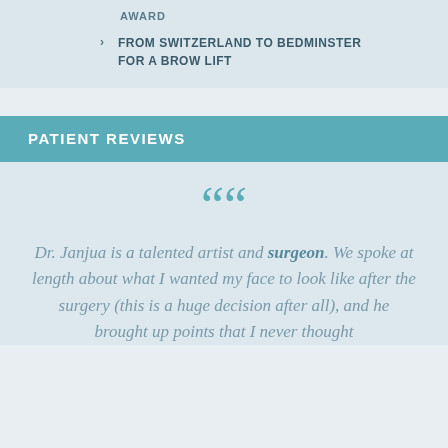AWARD
FROM SWITZERLAND TO BEDMINSTER FOR A BROW LIFT
PATIENT REVIEWS
““ Dr. Janjua is a talented artist and surgeon. We spoke at length about what I wanted my face to look like after the surgery (this is a huge decision after all), and he brought up points that I never thought